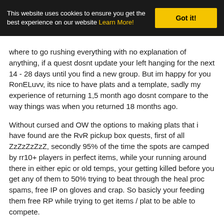This website uses cookies to ensure you get the best experience on our website Learn More! Got it!
where to go rushing everything with no explanation of anything, if a quest dosnt update your left hanging for the next 14 - 28 days until you find a new group. But im happy for you RonELuvv, its nice to have plats and a template, sadly my experience of returning 1,5 month ago dosnt compare to the way things was when you returned 18 months ago.
Without cursed and OW the options to making plats that i have found are the RvR pickup box quests, first of all ZzZzZzZzZ, secondly 95% of the time the spots are camped by rr10+ players in perfect items, while your running around there in either epic or old temps, your getting killed before you get any of them to 50% trying to beat through the heal proc spams, free IP on gloves and crap. So basicly your feeding them free RP while trying to get items / plat to be able to compete.
If the sense of accomplisment thats being talked about is getting run over while clicking boxes, or running mobs over in PvE with a zerg, while the biggest challenge your going to find while doing that is avoiding bugs and trying to find something that fits your time zone and play time on a low